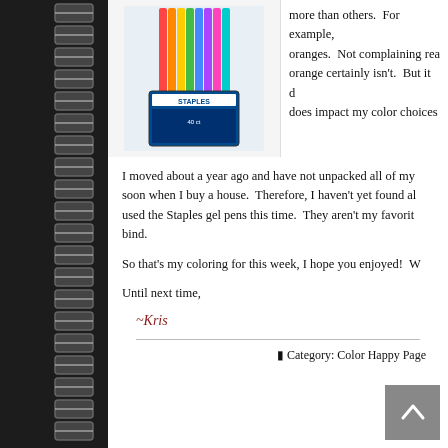[Figure (photo): Product image of Staples gel pens multicolor pack]
more than others. For example, oranges. Not complaining rea orange certainly isn't. But it d does impact my color choices
I moved about a year ago and have not unpacked all of my soon when I buy a house. Therefore, I haven't yet found al used the Staples gel pens this time. They aren't my favorit bind.
So that's my coloring for this week, I hope you enjoyed! W
Until next time,
~Kris
Category: Color Happy Page